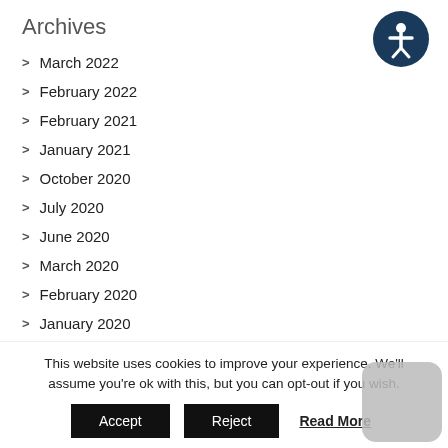Archives
[Figure (illustration): Accessibility icon: dark blue circle with white person figure (universal accessibility symbol)]
March 2022
February 2022
February 2021
January 2021
October 2020
July 2020
June 2020
March 2020
February 2020
January 2020
This website uses cookies to improve your experience. We'll assume you're ok with this, but you can opt-out if you wish.